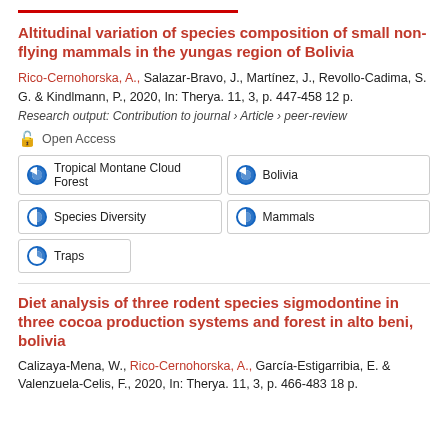Altitudinal variation of species composition of small non-flying mammals in the yungas region of Bolivia
Rico-Cernohorska, A., Salazar-Bravo, J., Martínez, J., Revollo-Cadima, S. G. & Kindlmann, P., 2020, In: Therya. 11, 3, p. 447-458 12 p.
Research output: Contribution to journal › Article › peer-review
Open Access
Tropical Montane Cloud Forest
Bolivia
Species Diversity
Mammals
Traps
Diet analysis of three rodent species sigmodontine in three cocoa production systems and forest in alto beni, bolivia
Calizaya-Mena, W., Rico-Cernohorska, A., García-Estigarribia, E. & Valenzuela-Celis, F., 2020, In: Therya. 11, 3, p. 466-483 18 p.